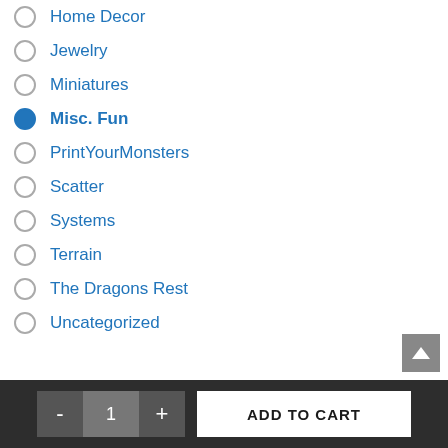Home Decor
Jewelry
Miniatures
Misc. Fun
PrintYourMonsters
Scatter
Systems
Terrain
The Dragons Rest
Uncategorized
- 1 + ADD TO CART